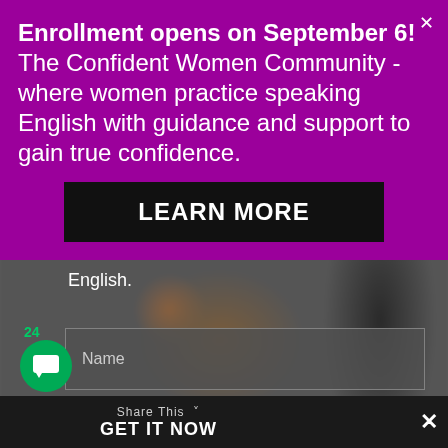[Figure (screenshot): Purple modal popup overlay on a dark blurred background photo. Contains headline text about enrollment, a Learn More button, a form with Name and Email fields, a chat badge showing 24, a Share This / GET IT NOW bottom bar, and a close X button.]
Enrollment opens on September 6! The Confident Women Community - where women practice speaking English with guidance and support to gain true confidence.
LEARN MORE
English.
Name
Email
24
Share This  GET IT NOW